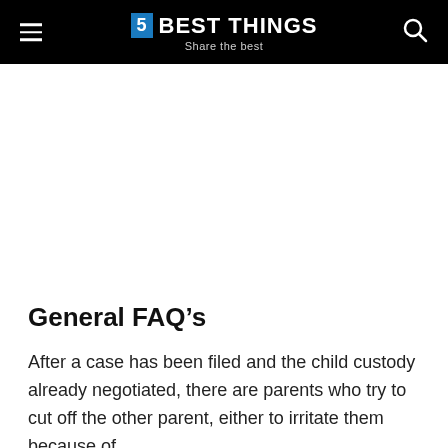5 BEST THINGS — Share the best
General FAQ’s
After a case has been filed and the child custody already negotiated, there are parents who try to cut off the other parent, either to irritate them because of